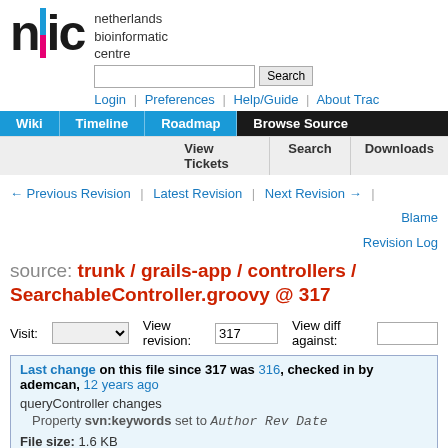netherlands bioinformatic centre | Login | Preferences | Help/Guide | About Trac
[Figure (screenshot): NBIC logo with navigation tabs: Wiki, Timeline, Roadmap, Browse Source (active), View Tickets, Search, Downloads]
← Previous Revision | Latest Revision | Next Revision → | Blame Revision Log
source: trunk / grails-app / controllers / SearchableController.groovy @ 317
Visit: [dropdown] View revision: 317 View diff against: [input]
Last change on this file since 317 was 316, checked in by ademcan, 12 years ago
queryController changes
Property svn:keywords set to Author Rev Date
File size: 1.6 KB
| Line |  |
| --- | --- |
| 1 | /* |
| 2 |  * Copyright 2007 the original author or authors. |
| 3 |  * |
| 4 |  * Licensed under the Apache License, Version 2.0 (the "License"); |
| 5 |  * you may not use this file except in compliance with the License. |